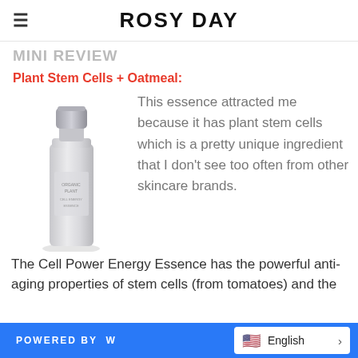ROSY DAY
Mini Review (partially cut off)
Plant Stem Cells + Oatmeal:
[Figure (photo): Product bottle - Cell Power Energy Essence, silver/grey cylindrical bottle with silver cap]
This essence attracted me because it has plant stem cells which is a pretty unique ingredient that I don't see too often from other skincare brands. The Cell Power Energy Essence has the powerful anti-aging properties of stem cells (from tomatoes) and the
POWERED BY W  English >